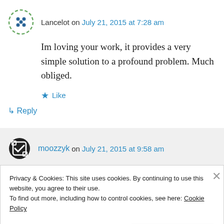Lancelot on July 21, 2015 at 7:28 am
Im loving your work, it provides a very simple solution to a profound problem. Much obliged.
★ Like
↳ Reply
moozzyk on July 21, 2015 at 9:58 am
Privacy & Cookies: This site uses cookies. By continuing to use this website, you agree to their use. To find out more, including how to control cookies, see here: Cookie Policy
Close and accept